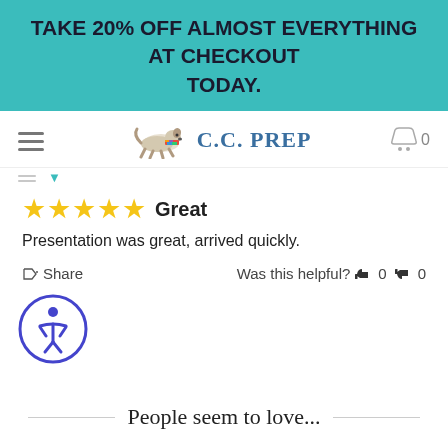TAKE 20% OFF ALMOST EVERYTHING AT CHECKOUT TODAY.
[Figure (screenshot): C.C. PREP website navigation bar with hamburger menu, dog logo, brand name C.C. PREP, and shopping cart icon with 0 items]
★★★★★ Great
Presentation was great, arrived quickly.
Share   Was this helpful? 👍 0 👎 0
[Figure (logo): Accessibility button with person in circle icon]
People seem to love...